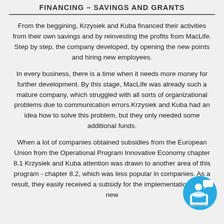FINANCING – SAVINGS AND GRANTS
From the beggining, Krzysiek and Kuba financed their activities from their own savings and by reinvesting the profits from MacLife. Step by step, the company developed, by opening the new points and hiring new employees.
In every business, there is a time when it needs more money for further development. By this stage, MacLife was already such a mature company, which struggled with all sorts of organizational problems due to communication errors.Krzysiek and Kuba had an idea how to solve this problem, but they only needed some additional funds.
When a lot of companies obtained subsidies from the European Union from the Operational Program Innovative Economy chapter 8.1 Krzysiek and Kuba attention was drawn to another area of this program - chapter 8.2, which was less popular in companies. As a result, they easily received a subsidy for the implementation of their new
[Figure (illustration): An icon of a person sitting at a laptop with a chat/message bubble above, in blue and white, circular badge style.]